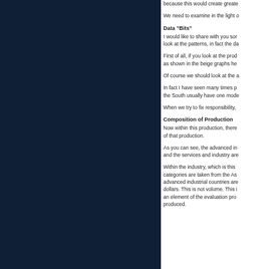because this would create greate
We need to examine in the light o
Data "Bits"
I would like to share with you sor look at the patterns, in fact the da
First of all, if you look at the prod as shown in the beige graphs he
Of course we should look at the a
In fact I have seen many times p the South usually have one mode
When we try to fix responsibility,
Composition of Production
Now within this production, there of that production.
As you can see, the advanced in and the services and industry are
Within the industry, which is this categories are taken from the As advanced industrial countries are dollars. This is not volume. This i an element of the evaluation pro produced.